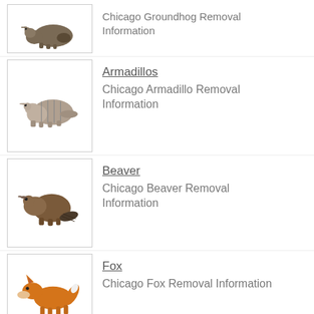Chicago Groundhog Removal Information
Armadillos
Chicago Armadillo Removal Information
Beaver
Chicago Beaver Removal Information
Fox
Chicago Fox Removal Information
Coyotes
Chicago Coyote Removal Information
Birds
Chicago Bird Removal Information
Bats